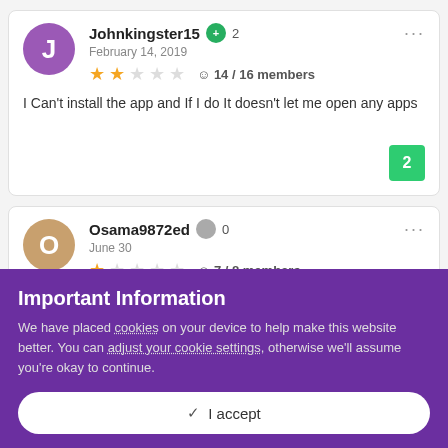Johnkingster15 +2 February 14, 2019 ★★☆☆☆ 14 / 16 members
I Can't install the app and If I do It doesn't let me open any apps
Osama9872ed 0 June 30 ★☆☆☆☆ 7 / 8 members
Important Information
We have placed cookies on your device to help make this website better. You can adjust your cookie settings, otherwise we'll assume you're okay to continue.
✓ I accept